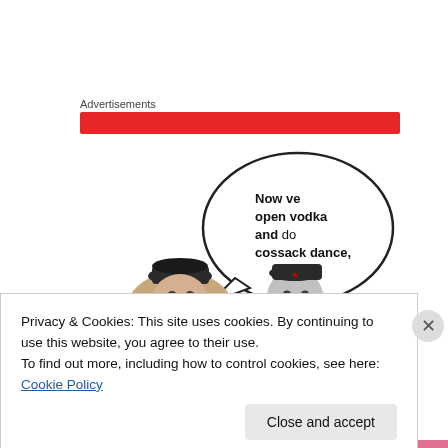Advertisements
[Figure (illustration): Red advertisement banner bar, followed by an illustration of two dogs wearing Russian ushanka hats, with a speech bubble saying 'Now ve open vodka and do cossack dance,']
Privacy & Cookies: This site uses cookies. By continuing to use this website, you agree to their use.
To find out more, including how to control cookies, see here: Cookie Policy
Close and accept